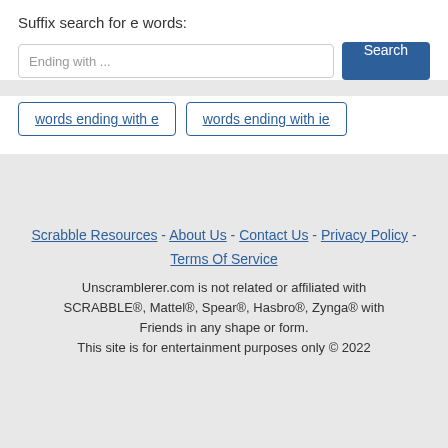Suffix search for e words:
Ending with ...
Search
words ending with e
words ending with ie
Scrabble Resources - About Us - Contact Us - Privacy Policy - Terms Of Service

Unscramblerer.com is not related or affiliated with SCRABBLE®, Mattel®, Spear®, Hasbro®, Zynga® with Friends in any shape or form.
This site is for entertainment purposes only © 2022